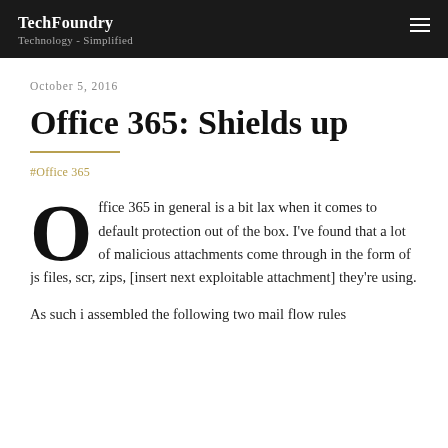TechFoundry
Technology - Simplified
October 5, 2016
Office 365: Shields up
#Office 365
Office 365 in general is a bit lax when it comes to default protection out of the box. I've found that a lot of malicious attachments come through in the form of js files, scr, zips, [insert next exploitable attachment] they're using.
As such i assembled the following two mail flow rules